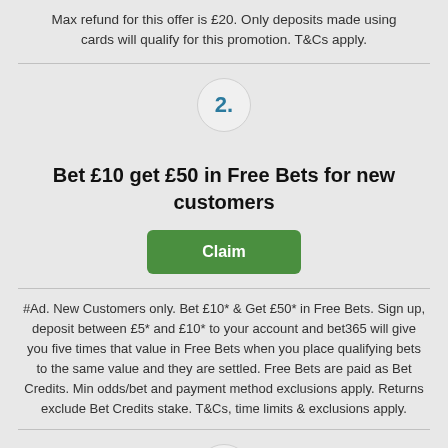Max refund for this offer is £20. Only deposits made using cards will qualify for this promotion. T&Cs apply.
[Figure (infographic): Step 2 circle badge with number 2 in teal/blue bold text on light grey circular background]
Bet £10 get £50 in Free Bets for new customers
Claim
#Ad. New Customers only. Bet £10* & Get £50* in Free Bets. Sign up, deposit between £5* and £10* to your account and bet365 will give you five times that value in Free Bets when you place qualifying bets to the same value and they are settled. Free Bets are paid as Bet Credits. Min odds/bet and payment method exclusions apply. Returns exclude Bet Credits stake. T&Cs, time limits & exclusions apply.
[Figure (infographic): Step 3 circle badge with number 3 in teal/blue bold text on light grey circular background]